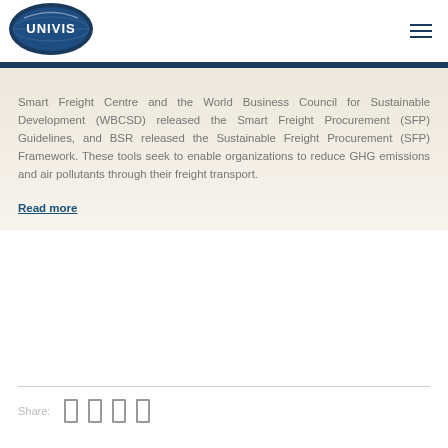[Figure (logo): UNIVIS logo — oval dark blue badge with white text UNIVIS and subtle globe/eye graphic]
Smart Freight Centre and the World Business Council for Sustainable Development (WBCSD) released the Smart Freight Procurement (SFP) Guidelines, and BSR released the Sustainable Freight Procurement (SFP) Framework. These tools seek to enable organizations to reduce GHG emissions and air pollutants through their freight transport.
Read more
Share: